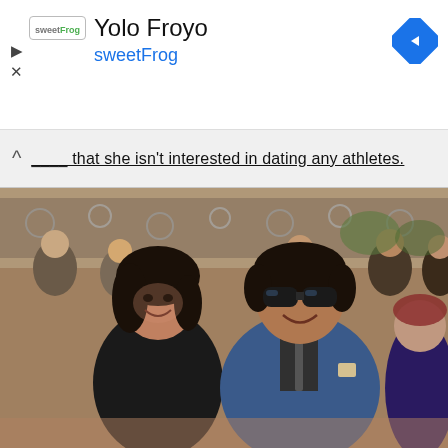[Figure (infographic): Advertisement banner for sweetFrog yogurt store 'Yolo Froyo']
that she isn't interested in dating any athletes.
[Figure (photo): A couple at what appears to be the ESPY Awards red carpet. A woman with dark hair in a black dress and a man in a blue blazer with sunglasses, smiling at the camera. Crowd and ESPN-branded backdrop in background.]